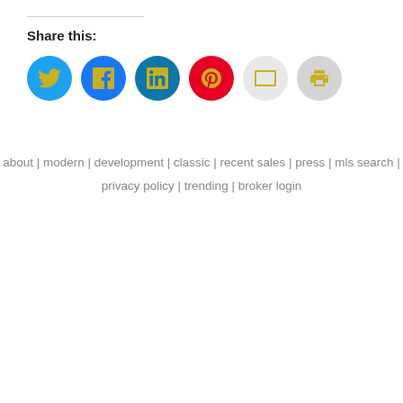Share this:
[Figure (infographic): Six circular social share buttons: Twitter (blue), Facebook (blue), LinkedIn (dark teal), Pinterest (red), Email (light gray), Print (gray)]
about | modern | development | classic | recent sales | press | mls search | privacy policy | trending | broker login